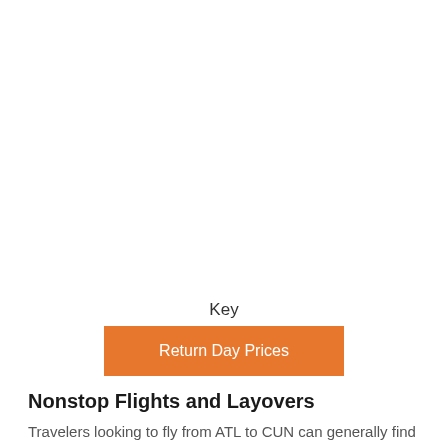Key
[Figure (other): Orange 'Return Day Prices' button serving as a legend key indicator]
Nonstop Flights and Layovers
Travelers looking to fly from ATL to CUN can generally find a 0-layover flight. Because there is a direct flight